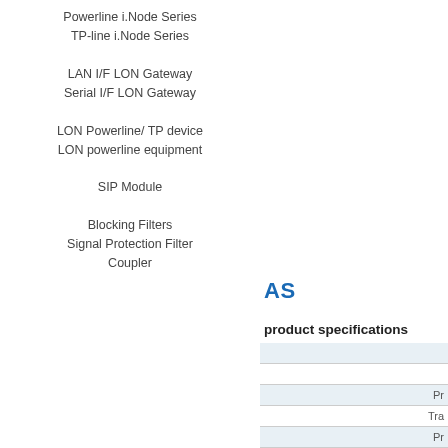Powerline i.Node Series
TP-line i.Node Series
LAN I/F LON Gateway
Serial I/F LON Gateway
LON Powerline/ TP device
LON powerline equipment
SIP Module
Blocking Filters
Signal Protection Filter
Coupler
AS
product specifications
| Pr |
| Tra |
| Pr |
|  |
| C |
|  |